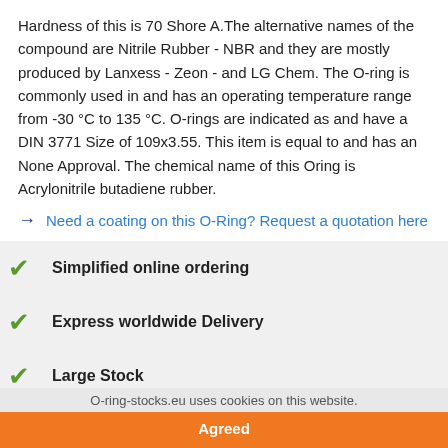Hardness of this is 70 Shore A.The alternative names of the compound are Nitrile Rubber - NBR and they are mostly produced by Lanxess - Zeon - and LG Chem. The O-ring is commonly used in and has an operating temperature range from -30 °C to 135 °C. O-rings are indicated as and have a DIN 3771 Size of 109x3.55. This item is equal to and has an None Approval. The chemical name of this Oring is Acrylonitrile butadiene rubber.
→ Need a coating on this O-Ring? Request a quotation here
Simplified online ordering
Express worldwide Delivery
Large Stock
O-ring-stocks.eu uses cookies on this website.
Agreed